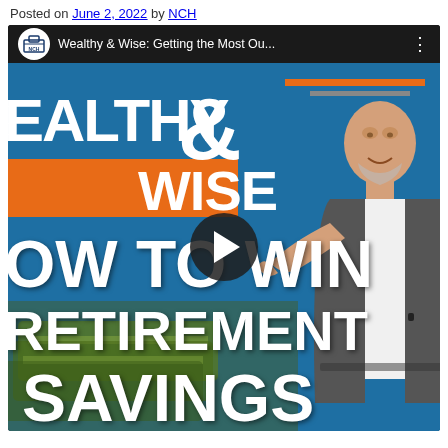Posted on June 2, 2022 by NCH
[Figure (screenshot): YouTube video thumbnail for 'Wealthy & Wise: Getting the Most Ou...' by NCH, showing a bald man in a suit gesturing, with large white bold text reading 'HOW TO WIN RETIREMENT SAVINGS' and orange accent bars on a blue background. A play button is centered on the video.]